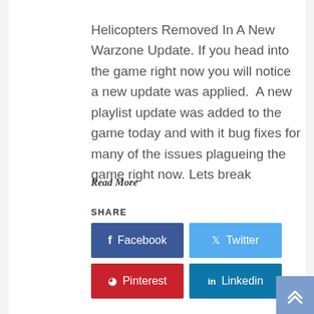Helicopters Removed In A New Warzone Update. If you head into the game right now you will notice a new update was applied.  A new playlist update was added to the game today and with it bug fixes for many of the issues plagueing the game right now. Lets break
Read More
SHARE
[Figure (infographic): Social share buttons: Facebook (dark blue), Twitter (light blue), Pinterest (red), Linkedin (medium blue)]